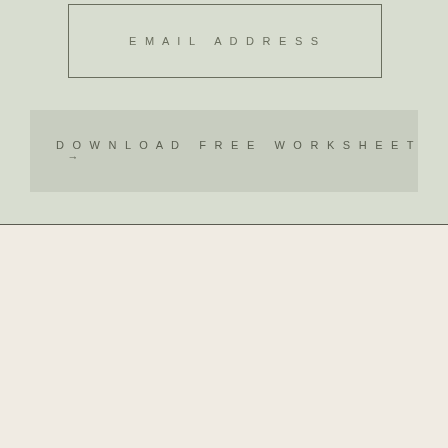EMAIL ADDRESS
DOWNLOAD FREE WORKSHEET →